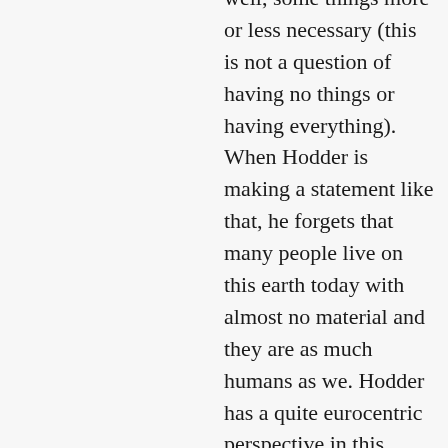well, some things more or less necessary (this is not a question of having no things or having everything). When Hodder is making a statement like that, he forgets that many people live on this earth today with almost no material and they are as much humans as we. Hodder has a quite eurocentric perspective in this